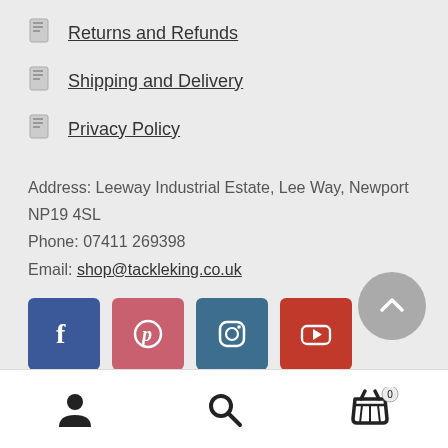Returns and Refunds
Shipping and Delivery
Privacy Policy
Address: Leeway Industrial Estate, Lee Way, Newport NP19 4SL
Phone: 07411 269398
Email: shop@tackleking.co.uk
[Figure (infographic): Social media icons row: Facebook (blue), Pinterest (pink-red), Instagram (slate blue), YouTube (red); scroll-to-top grey circle button with upward chevron]
[Figure (infographic): Bottom navigation bar with person/account icon, search magnifier icon, and shopping basket icon with badge showing 0]